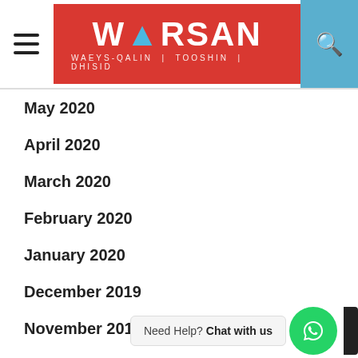WARSAN — navigation header with hamburger menu, logo, and search icon
May 2020
April 2020
March 2020
February 2020
January 2020
December 2019
November 2019
October 2019
September 2019
July 2019
June 2019
October 2018
August 2018
July 2018
Need Help? Chat with us